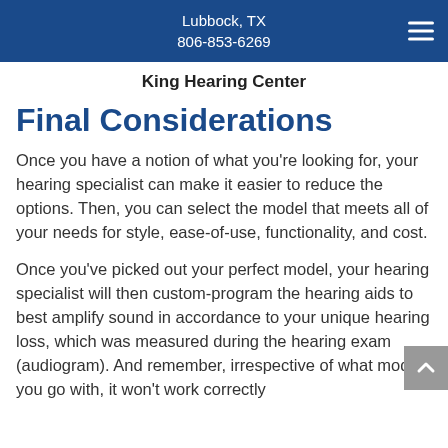Lubbock, TX
806-853-6269
King Hearing Center
Final Considerations
Once you have a notion of what you're looking for, your hearing specialist can make it easier to reduce the options. Then, you can select the model that meets all of your needs for style, ease-of-use, functionality, and cost.
Once you've picked out your perfect model, your hearing specialist will then custom-program the hearing aids to best amplify sound in accordance to your unique hearing loss, which was measured during the hearing exam (audiogram). And remember, irrespective of what model you go with, it won't work correctly